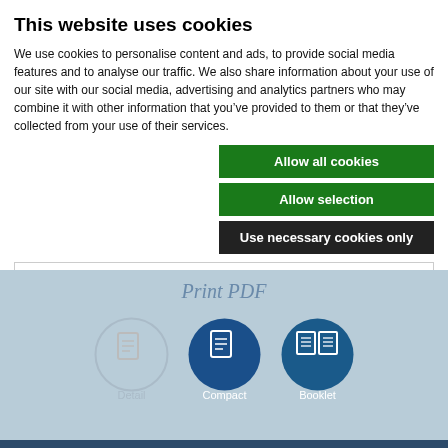This website uses cookies
We use cookies to personalise content and ads, to provide social media features and to analyse our traffic. We also share information about your use of our site with our social media, advertising and analytics partners who may combine it with other information that you've provided to them or that they've collected from your use of their services.
Allow all cookies
Allow selection
Use necessary cookies only
Necessary  Preferences  Statistics  Marketing  Show details
Print PDF
[Figure (illustration): Three circular icons for Detail, Compact, and Booklet print options. Detail is an outline circle with a document icon. Compact is a solid blue circle with a document icon. Booklet is a solid blue circle with an open book icon.]